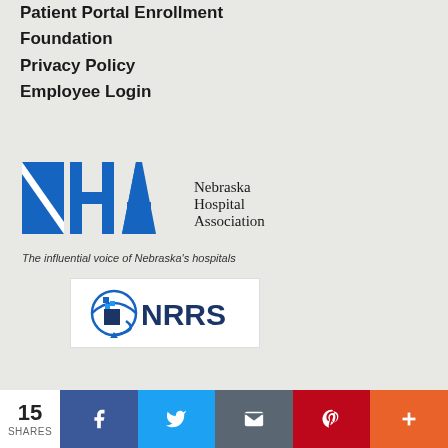Patient Portal Login
Patient Portal Enrollment
Foundation
Privacy Policy
Employee Login
[Figure (logo): Nebraska Hospital Association (NHA) logo with tagline: The influential voice of Nebraska's hospitals]
[Figure (logo): NRRS logo with globe/network icon and dark blue text on white background]
15 SHARES | Facebook | Twitter | Email | Pinterest | More